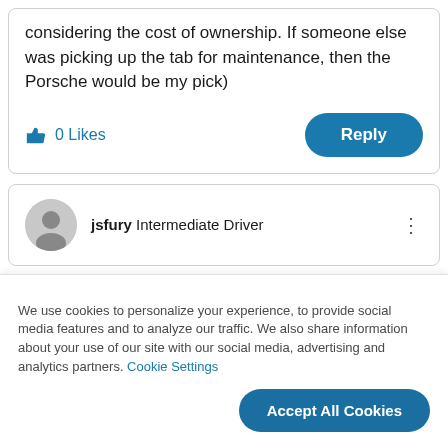considering the cost of ownership.  If someone else was picking up the tab for maintenance, then the Porsche would be my pick)
0 Likes
Reply
jsfury  Intermediate Driver
We use cookies to personalize your experience, to provide social media features and to analyze our traffic. We also share information about your use of our site with our social media, advertising and analytics partners. Cookie Settings
Accept All Cookies